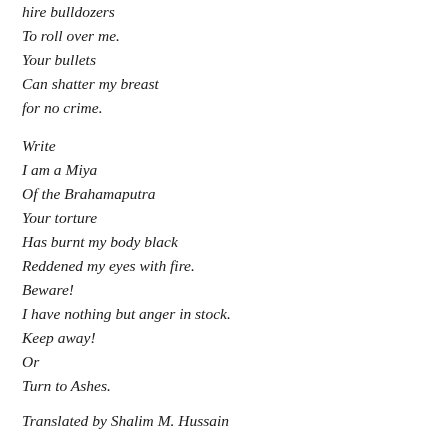hire bulldozers
To roll over me.
Your bullets
Can shatter my breast
for no crime.

Write
I am a Miya
Of the Brahamaputra
Your torture
Has burnt my body black
Reddened my eyes with fire.
Beware!
I have nothing but anger in stock.
Keep away!
Or
Turn to Ashes.
Translated by Shalim M. Hussain
Will this protest poem be a requiem for India's secularism?